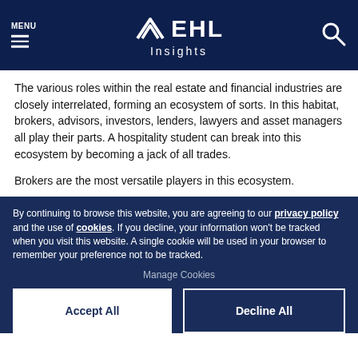MENU | EHL Insights
The various roles within the real estate and financial industries are closely interrelated, forming an ecosystem of sorts. In this habitat, brokers, advisors, investors, lenders, lawyers and asset managers all play their parts. A hospitality student can break into this ecosystem by becoming a jack of all trades.
Brokers are the most versatile players in this ecosystem.
By continuing to browse this website, you are agreeing to our privacy policy and the use of cookies. If you decline, your information won't be tracked when you visit this website. A single cookie will be used in your browser to remember your preference not to be tracked.
Manage Cookies
Accept All
Decline All